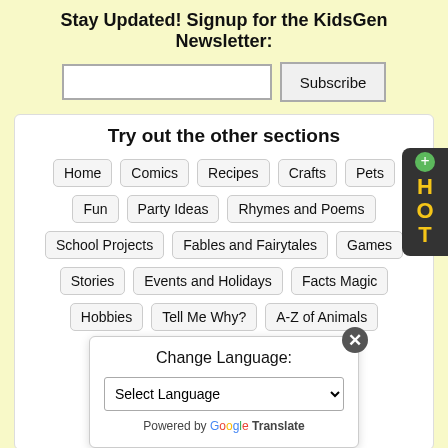Stay Updated! Signup for the KidsGen Newsletter:
Subscribe button with email input
Try out the other sections
Home
Comics
Recipes
Crafts
Pets
Fun
Party Ideas
Rhymes and Poems
School Projects
Fables and Fairytales
Games
Stories
Events and Holidays
Facts Magic
Hobbies
Tell Me Why?
A-Z of Animals
Continents
Moral Stories
Indian Mythological Stories
Back to School
Link to us
Change Language: Select Language — Powered by Google Translate